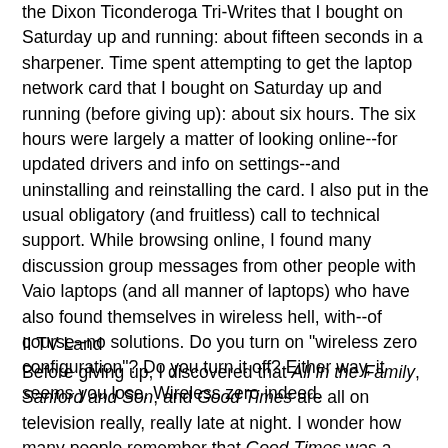the Dixon Ticonderoga Tri-Writes that I bought on Saturday up and running: about fifteen seconds in a sharpener. Time spent attempting to get the laptop network card that I bought on Saturday up and running (before giving up): about six hours. The six hours were largely a matter of looking online--for updated drivers and info on settings--and uninstalling and reinstalling the card. I also put in the usual obligatory (and fruitless) call to technical support. While browsing online, I found many discussion group messages from other people with Vaio laptops (and all manner of laptops) who have also found themselves in wireless hell, with--of course--no solutions. Do you turn on "wireless zero configuration"? Do you turn it off? Either way, it seems you lose. Wireless zero indeed.
II TV Land
Before giving up, I discovered that All in the Family, Sanford and Son, and Good Times are all on television really, really late at night. I wonder how many people remember that Good Times was a spinoff of Maude, which was itself a spinoff of All in the